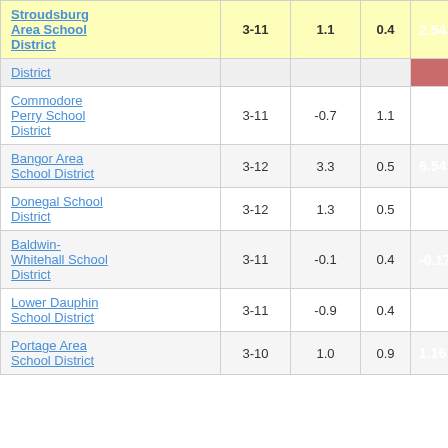| School District | Grades | Col3 | Col4 | Score |
| --- | --- | --- | --- | --- |
| Stroudsburg Area School District | 3-11 | 1.1 | 0.4 | 2.54 |
| District |  |  |  |  |
| Commodore Perry School District | 3-11 | -0.7 | 1.1 | -0.58 |
| Bangor Area School District | 3-12 | 3.3 | 0.5 | 6.54 |
| Donegal School District | 3-12 | 1.3 | 0.5 | 2.73 |
| Baldwin-Whitehall School District | 3-11 | -0.1 | 0.4 | -0.17 |
| Lower Dauphin School District | 3-11 | -0.9 | 0.4 | -2.20 |
| Portage Area School District | 3-10 | 1.0 | 0.9 | 1.16 |